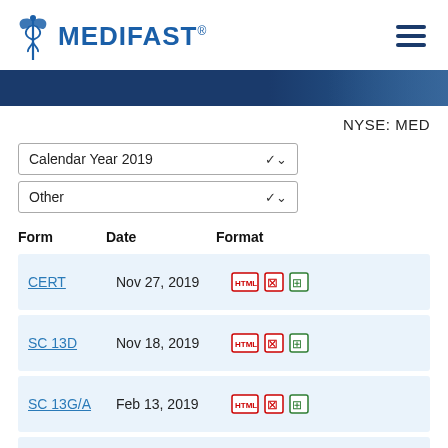[Figure (logo): Medifast logo with caduceus symbol and blue text MEDIFAST with registered trademark]
NYSE: MED
Calendar Year 2019
Other
| Form | Date | Format |
| --- | --- | --- |
| CERT | Nov 27, 2019 | HTML PDF XLS |
| SC 13D | Nov 18, 2019 | HTML PDF XLS |
| SC 13G/A | Feb 13, 2019 | HTML PDF XLS |